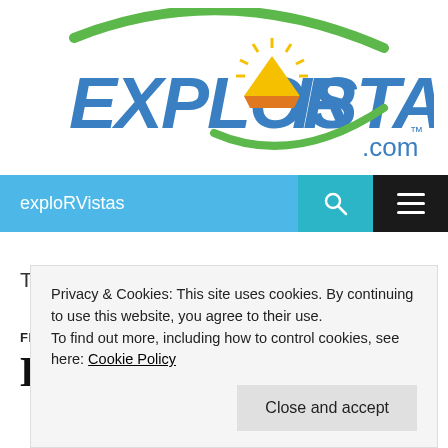[Figure (logo): ExploRVistas.com logo with stylized text in blue, a green arc, and a yellow/orange sunrise emblem in the center]
exploRVistas
Tag Archives: Cocoa Beach
FLORIDA
HAPPY HOLIDAYS!
Privacy & Cookies: This site uses cookies. By continuing to use this website, you agree to their use.
To find out more, including how to control cookies, see here: Cookie Policy